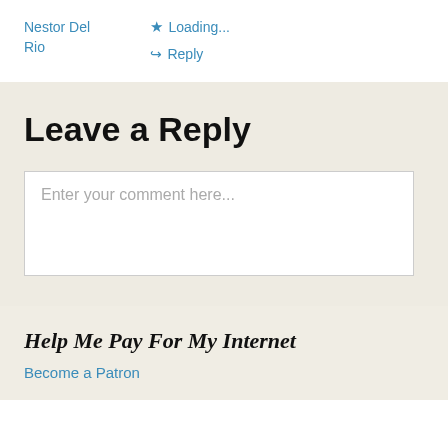Nestor Del Rio
Loading...
Reply
Leave a Reply
Enter your comment here...
Help Me Pay For My Internet
Become a Patron